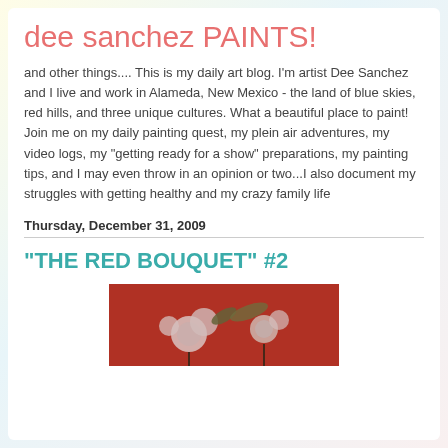dee sanchez PAINTS!
and other things.... This is my daily art blog. I'm artist Dee Sanchez and I live and work in Alameda, New Mexico - the land of blue skies, red hills, and three unique cultures. What a beautiful place to paint! Join me on my daily painting quest, my plein air adventures, my video logs, my "getting ready for a show" preparations, my painting tips, and I may even throw in an opinion or two...I also document my struggles with getting healthy and my crazy family life
Thursday, December 31, 2009
"THE RED BOUQUET" #2
[Figure (photo): Partial view of a floral painting with red background showing decorative roses and floral elements]